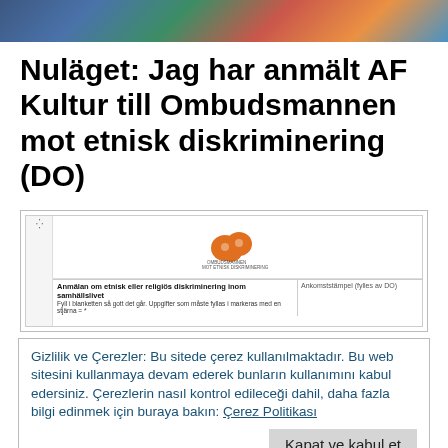[Figure (photo): Colorful photographic header banner with gaming/action imagery]
Nuläget: Jag har anmält AF Kultur till Ombudsmannen mot etnisk diskriminering (DO)
[Figure (screenshot): Screenshot of a Swedish government form (DO - Ombudsmannen mot etnisk diskriminering) with orange logo at top, form fields for Anmälan om etnisk eller religiös diskriminering inom samhällslivet]
Gizlilik ve Çerezler: Bu sitede çerez kullanılmaktadır. Bu web sitesini kullanmaya devam ederek bunların kullanımını kabul edersiniz. Çerezlerin nasıl kontrol edileceği dahil, daha fazla bilgi edinmek için buraya bakın: Çerez Politikası
Kapat ve kabul et
98-452 81 00